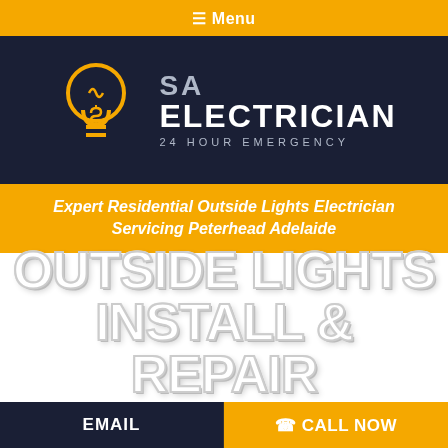☰ Menu
[Figure (logo): SA Electrician 24 Hour Emergency logo with yellow lightbulb icon on dark navy background]
Expert Residential Outside Lights Electrician Servicing Peterhead Adelaide
OUTSIDE LIGHTS INSTALL & REPAIR ELECTRICIANS
EMAIL  ☎ CALL NOW